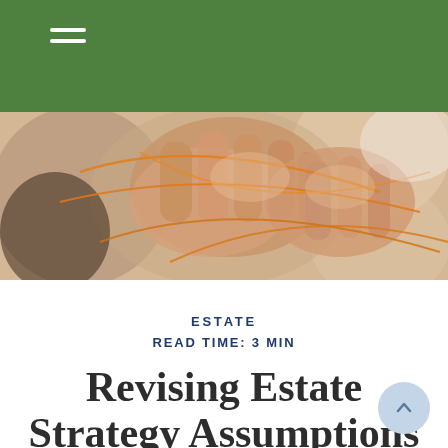[Figure (photo): Close-up photograph of hands holding or weaving orange strings/threads together against a blurred background]
ESTATE
READ TIME: 3 MIN
Revising Estate Strategy Assumptions